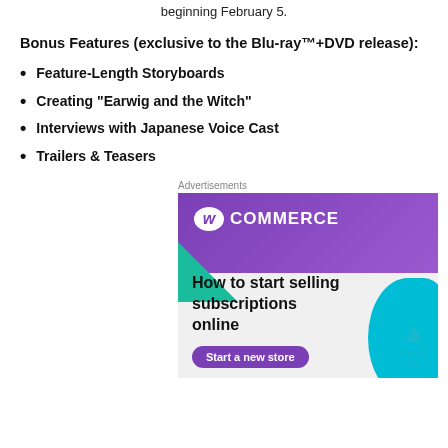beginning February 5.
Bonus Features (exclusive to the Blu-ray™+DVD release):
Feature-Length Storyboards
Creating “Earwig and the Witch”
Interviews with Japanese Voice Cast
Trailers & Teasers
Advertisements
[Figure (illustration): WooCommerce advertisement banner with purple header showing WooCommerce logo, teal/green geometric shapes, and text 'How to start selling subscriptions online' with a 'Start a new store' button.]